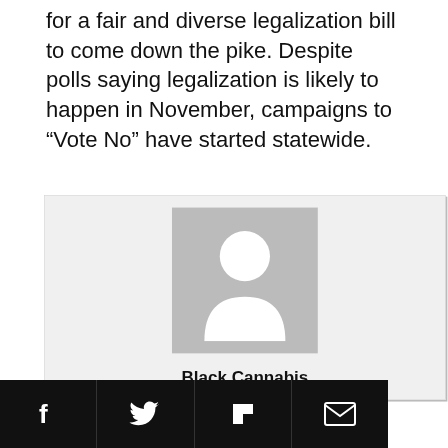for a fair and diverse legalization bill to come down the pike. Despite polls saying legalization is likely to happen in November, campaigns to “Vote No” have started statewide.
[Figure (illustration): A card/widget with a grey background containing a default user avatar silhouette (white head and shoulders on grey), with partial text 'Black Cannabis' below and a black social sharing bar at the bottom with Facebook, Twitter, Flipboard, and email icons.]